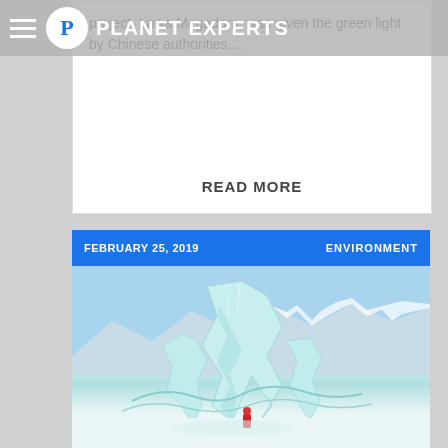PLANET EXPERTS
project, Lawa Megadam, was given the green light by Chinese authorities....
READ MORE
[Figure (screenshot): Planet Experts website screenshot showing article card with date February 25, 2019, category ENVIRONMENT, and a photo of large ice formations with a person in red standing below them, snowy mountains in background]
FEBRUARY 25, 2019  ENVIRONMENT